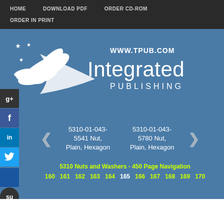HOME   DOWNLOAD PDF   ORDER CD-ROM   ORDER IN PRINT
[Figure (logo): Integrated Publishing logo with bird/wing graphic and www.tpub.com URL]
5310-01-043-5541 Nut, Plain, Hexagon
5310-01-043-5780 Nut, Plain, Hexagon
5310 Nuts and Washers - 450 Page Navigation
160 161 162 163 164 165 166 167 168 169 170